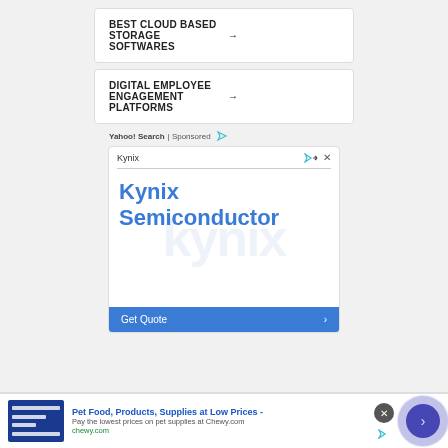[Figure (screenshot): Search ad box: BEST CLOUD BASED STORAGE SOFTWARES with right arrow]
[Figure (screenshot): Search ad box: DIGITAL EMPLOYEE ENGAGEMENT PLATFORMS with right arrow]
Yahoo! Search | Sponsored
[Figure (screenshot): Kynix Semiconductor advertisement banner with Get Quote button]
[Figure (screenshot): Bottom banner ad: Pet Food, Products, Supplies at Low Prices - Pay the lowest prices on pet supplies at Chewy.com - chewy.com]